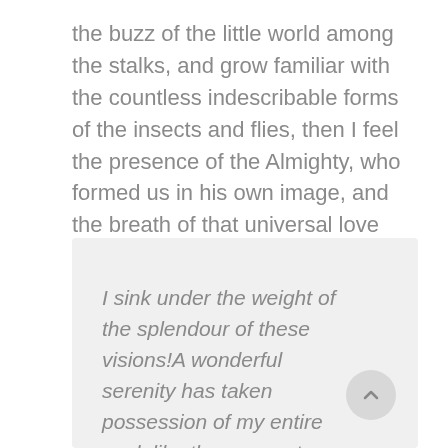the buzz of the little world among the stalks, and grow familiar with the countless indescribable forms of the insects and flies, then I feel the presence of the Almighty, who formed us in his own image, and the breath of that universal love which bears and sustains us, as it floats around us in an eternity of blist.
I sink under the weight of the splendour of these visions!A wonderful serenity has taken possession of my entire soul, like these sweet mornings of spring which